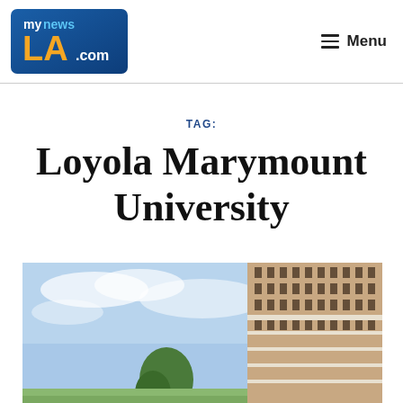[Figure (logo): myNewsLA.com logo — blue gradient background with 'my news' in white and blue text and 'LA' in orange bold letters, '.com' in white]
Menu
TAG:
Loyola Marymount University
[Figure (photo): Exterior photograph of a curved modern university building with large windows against a partly cloudy blue sky, with trees visible in the foreground]